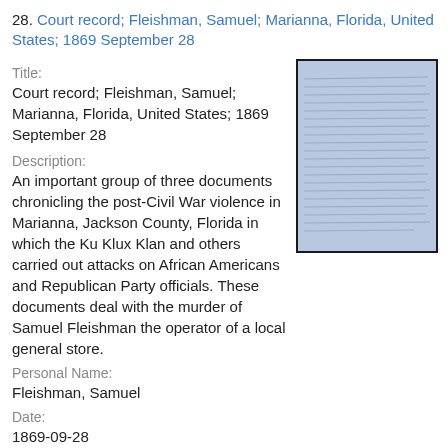28. Court record; Fleishman, Samuel; Marianna, Florida, United States; 1869 September 28
Title:
Court record; Fleishman, Samuel; Marianna, Florida, United States; 1869 September 28
[Figure (photo): Image of a handwritten historical document on blue paper, showing dense cursive writing]
Description:
An important group of three documents chronicling the post-Civil War violence in Marianna, Jackson County, Florida in which the Ku Klux Klan and others carried out attacks on African Americans and Republican Party officials. These documents deal with the murder of Samuel Fleishman the operator of a local general store.
Personal Name:
Fleishman, Samuel
Date:
1869-09-28
Language:
English